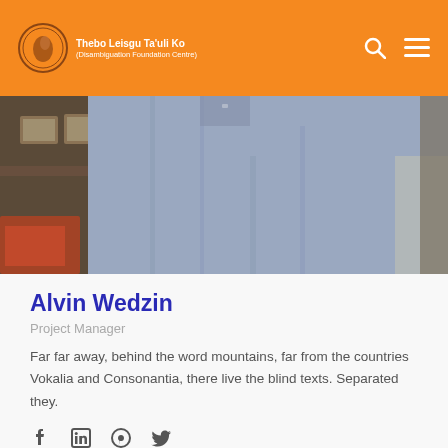Thebo Leisgu Ta'uli Ko (Disambiguation Foundation Centre)
[Figure (photo): Photo of a grey/blue garment hanging, with a room interior visible in the background including framed pictures and furniture.]
Alvin Wedzin
Project Manager
Far far away, behind the word mountains, far from the countries Vokalia and Consonantia, there live the blind texts. Separated they.
[Figure (illustration): Social media icons: Facebook, LinkedIn, Pinterest, Twitter]